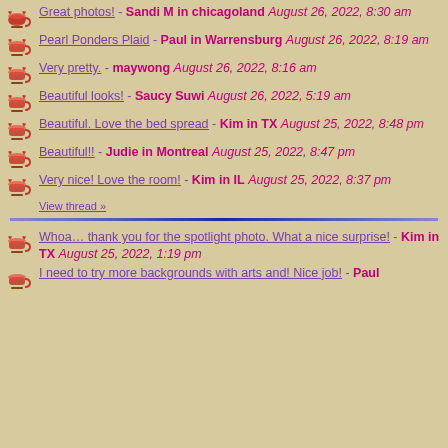Great photos! - Sandi M in chicagoland August 26, 2022, 8:30 am
Pearl Ponders Plaid - Paul in Warrensburg August 26, 2022, 8:19 am
Very pretty. - maywong August 26, 2022, 8:16 am
Beautiful looks! - Saucy Suwi August 26, 2022, 5:19 am
Beautiful. Love the bed spread - Kim in TX August 25, 2022, 8:48 pm
Beautiful!! - Judie in Montreal August 25, 2022, 8:47 pm
Very nice! Love the room! - Kim in IL August 25, 2022, 8:37 pm
View thread »
Whoa… thank you for the spotlight photo. What a nice surprise! - Kim in TX August 25, 2022, 1:19 pm
I need to try more backgrounds with arts and! Nice job! - Paul